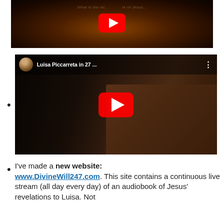[Figure (screenshot): YouTube video thumbnail showing a dark sun/fire image with a YouTube play button overlay and faint text 'What is the mi... rk of Jesus...']
[Figure (screenshot): YouTube video thumbnail showing a bearded man sitting at a desk with the title 'Luisa Piccarreta in 27 ...' and a YouTube play button overlay]
I've made a new website: www.DivineWill247.com. This site contains a continuous live stream (all day every day) of an audiobook of Jesus' revelations to Luisa. Not